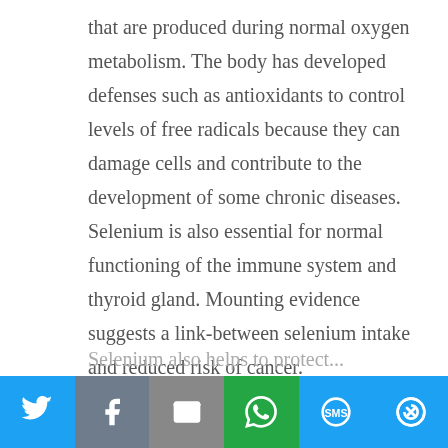that are produced during normal oxygen metabolism. The body has developed defenses such as antioxidants to control levels of free radicals because they can damage cells and contribute to the development of some chronic diseases. Selenium is also essential for normal functioning of the immune system and thyroid gland. Mounting evidence suggests a link-between selenium intake and reduced risk of cancer.
Selenium also helps to protect...